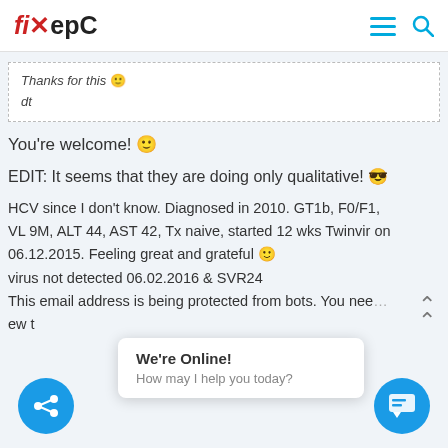fixHepC
Thanks for this 🙂
dt
You're welcome! 🙂
EDIT: It seems that they are doing only qualitative! 😎
HCV since I don't know. Diagnosed in 2010. GT1b, F0/F1, VL 9M, ALT 44, AST 42, Tx naive, started 12 wks Twinvir on 06.12.2015. Feeling great and grateful 🙂
virus not detected 06.02.2016 & SVR24
This email address is being protected from bots. You nee...ew t
We're Online!
How may I help you today?